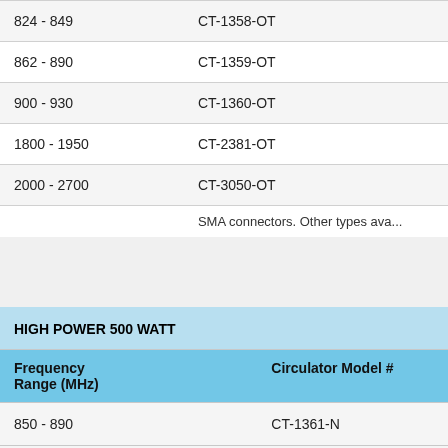| Frequency Range (MHz) | Circulator Model # |  |
| --- | --- | --- |
| 824 - 849 | CT-1358-OT | CT-1... |
| 862 - 890 | CT-1359-OT | CT-1... |
| 900 - 930 | CT-1360-OT | CT-1... |
| 1800 - 1950 | CT-2381-OT | CT-2... |
| 2000 - 2700 | CT-3050-OT | CT-3... |
SMA connectors. Other types ava...
HIGH POWER 500 WATT
| Frequency Range (MHz) | Circulator Model # |
| --- | --- |
| 850 - 890 | CT-1361-N |
| 860 - 960 | CT-1362-N |